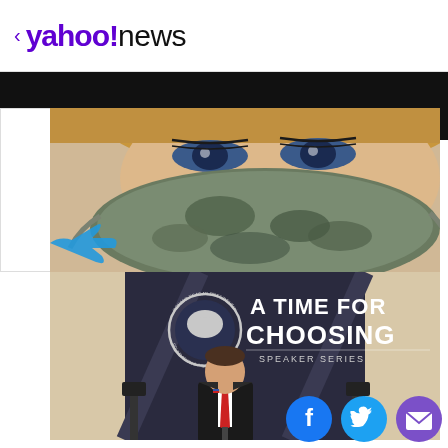< yahoo!news
[Figure (photo): Close-up photo of a woman with blue eyes wearing a camouflage-patterned face mask, with blonde hair visible]
[Figure (photo): A man in a dark suit and red tie speaking at a podium in front of a backdrop showing the Ronald Reagan Presidential Foundation and Institute seal and the text 'A TIME FOR CHOOSING SPEAKER SERIES']
[Figure (infographic): Social media sharing icons: Facebook (blue circle with f), Twitter (light blue circle with bird), and Email (purple circle with envelope)]